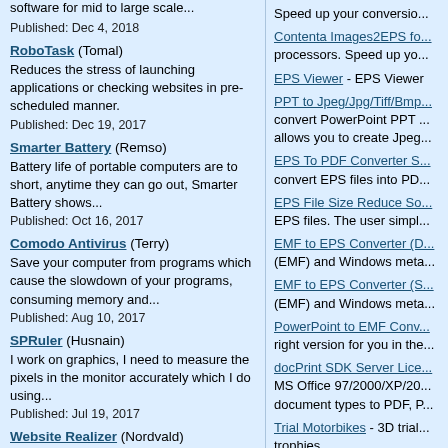software for mid to large scale...
Published: Dec 4, 2018
RoboTask (Tomal)
Reduces the stress of launching applications or checking websites in pre-scheduled manner.
Published: Dec 19, 2017
Smarter Battery (Remso)
Battery life of portable computers are to short, anytime they can go out, Smarter Battery shows...
Published: Oct 16, 2017
Comodo Antivirus (Terry)
Save your computer from programs which cause the slowdown of your programs, consuming memory and...
Published: Aug 10, 2017
SPRuler (Husnain)
I work on graphics, I need to measure the pixels in the monitor accurately which I do using...
Published: Jul 19, 2017
Website Realizer (Nordvald)
Speed up your conversio...
Contenta Images2EPS fo... processors. Speed up yo...
EPS Viewer - EPS Viewer
PPT to Jpeg/Jpg/Tiff/Bmp... convert PowerPoint PPT ... allows you to create Jpeg...
EPS To PDF Converter S... convert EPS files into PD...
EPS File Size Reduce So... EPS files. The user simpl...
EMF to EPS Converter (D... (EMF) and Windows meta...
EMF to EPS Converter (S... (EMF) and Windows meta...
PowerPoint to EMF Conv... right version for you in the...
docPrint SDK Server Lice... MS Office 97/2000/XP/20... document types to PDF, P...
Trial Motorbikes - 3D trial... trophies.
Perfect Automation Icons... variety of formats. Ready...